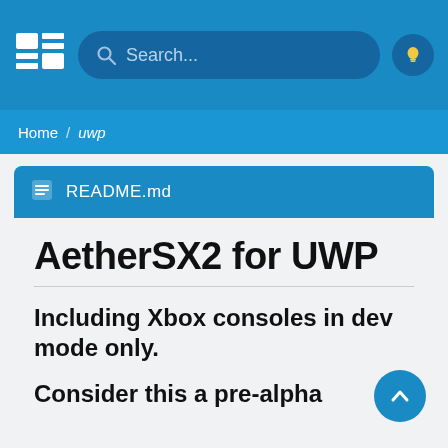[Figure (screenshot): Navigation bar with logo, search bar, and light bulb icon on blue background]
Home / uwp
README.md
AetherSX2 for UWP
Including Xbox consoles in dev mode only.
Consider this a pre-alpha